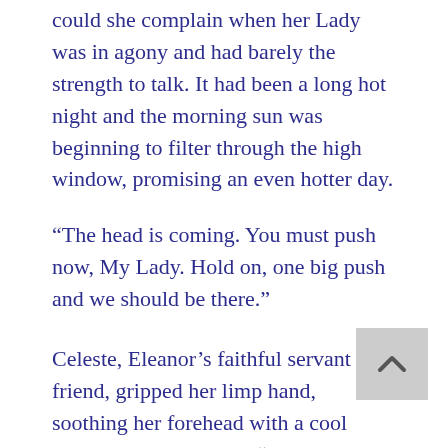could she complain when her Lady was in agony and had barely the strength to talk. It had been a long hot night and the morning sun was beginning to filter through the high window, promising an even hotter day.
“The head is coming. You must push now, My Lady. Hold on, one big push and we should be there.”
Celeste, Eleanor’s faithful servant and friend, gripped her limp hand, soothing her forehead with a cool lavender-soaked cloth. “It’s nearly over, Eleanor. The babe is coming, be brave.”
The young maid, Catrin, hovered around the bed not knowing what to do or say, tears falling down her frightened face.
“Go and see if that physician is here, Catrin fach, and